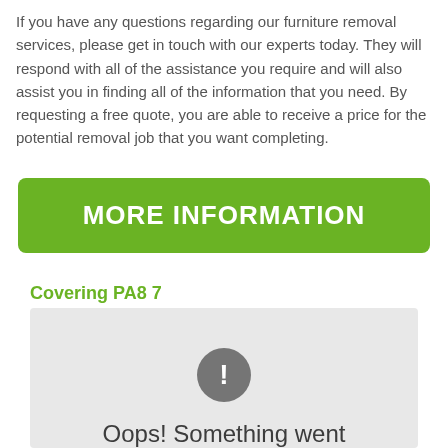If you have any questions regarding our furniture removal services, please get in touch with our experts today. They will respond with all of the assistance you require and will also assist you in finding all of the information that you need. By requesting a free quote, you are able to receive a price for the potential removal job that you want completing.
[Figure (other): Green button with white bold uppercase text 'MORE INFORMATION']
Covering PA8 7
[Figure (screenshot): Google Maps error state showing a grey circle with exclamation mark, text 'Oops! Something went wrong.' and 'This page didn't load Google Maps correctly. See the']